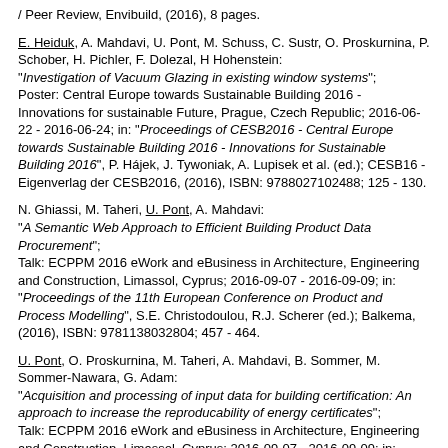/ Peer Review, Envibuild, (2016), 8 pages.
E. Heiduk, A. Mahdavi, U. Pont, M. Schuss, C. Sustr, O. Proskurnina, P. Schober, H. Pichler, F. Dolezal, H Hohenstein: "Investigation of Vacuum Glazing in existing window systems"; Poster: Central Europe towards Sustainable Building 2016 - Innovations for sustainable Future, Prague, Czech Republic; 2016-06-22 - 2016-06-24; in: "Proceedings of CESB2016 - Central Europe towards Sustainable Building 2016 - Innovations for Sustainable Building 2016", P. Hájek, J. Tywoniak, A. Lupisek et al. (ed.); CESB16 - Eigenverlag der CESB2016, (2016), ISBN: 9788027102488; 125 - 130.
N. Ghiassi, M. Taheri, U. Pont, A. Mahdavi: "A Semantic Web Approach to Efficient Building Product Data Procurement"; Talk: ECPPM 2016 eWork and eBusiness in Architecture, Engineering and Construction, Limassol, Cyprus; 2016-09-07 - 2016-09-09; in: "Proceedings of the 11th European Conference on Product and Process Modelling", S.E. Christodoulou, R.J. Scherer (ed.); Balkema, (2016), ISBN: 9781138032804; 457 - 464.
U. Pont, O. Proskurnina, M. Taheri, A. Mahdavi, B. Sommer, M. Sommer-Nawara, G. Adam: "Acquisition and processing of input data for building certification: An approach to increase the reproducability of energy certificates"; Talk: ECPPM 2016 eWork and eBusiness in Architecture, Engineering and Construction, Limassol, Cyprus; 2016-09-07 - 2016-09-09; in: "Proceedings of the 11th European Conference on Product and Process Modelling", S.E. Christodoulou, R.J. Scherer (ed.); Balkema, (2016), ISBN: 9781138032804; 243 - 250.
O. Proskurnina, U. Pont, A. Mahdavi: "The performance of vacuum glazing in existing window constructions: A case